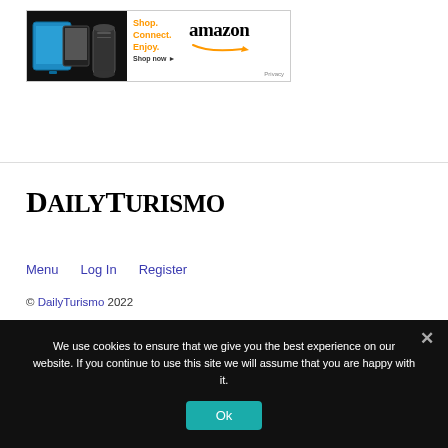[Figure (screenshot): Amazon advertisement banner showing Amazon devices (Fire tablet, Kindle, Echo) with text 'Shop. Connect. Enjoy. Shop now' and Amazon logo with 'Privacy' link]
[Figure (logo): DailyTurismo site logo in bold serif small-caps font]
Menu   Log In   Register
© DailyTurismo 2022
We use cookies to ensure that we give you the best experience on our website. If you continue to use this site we will assume that you are happy with it.